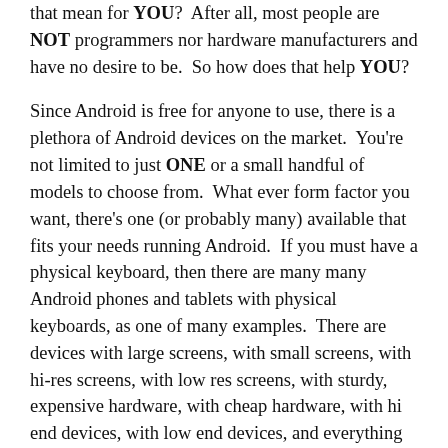that mean for YOU?  After all, most people are NOT programmers nor hardware manufacturers and have no desire to be.  So how does that help YOU?
Since Android is free for anyone to use, there is a plethora of Android devices on the market.  You're not limited to just ONE or a small handful of models to choose from.  What ever form factor you want, there's one (or probably many) available that fits your needs running Android.  If you must have a physical keyboard, then there are many many Android phones and tablets with physical keyboards, as one of many examples.  There are devices with large screens, with small screens, with hi-res screens, with low res screens, with sturdy, expensive hardware, with cheap hardware, with hi end devices, with low end devices, and everything in-between, expensive devices, and budget devices.  Whatever your cost budget or your hardware needs, there's a device for that.